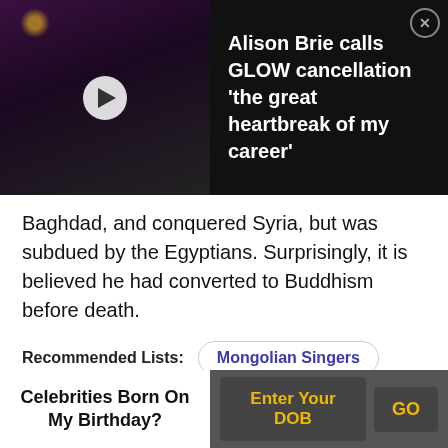[Figure (screenshot): Video thumbnail of a wrestling/entertainment scene with pink ring ropes, people in costumes, dark background with chandeliers. A white play button circle is overlaid in the center.]
Alison Brie calls GLOW cancellation 'the great heartbreak of my career'
Baghdad, and conquered Syria, but was subdued by the Egyptians. Surprisingly, it is believed he had converted to Buddhism before death.
Recommended Lists:
Mongolian Singers
Mongolian Scientists
7  Güyük Khan
Celebrities Born On My Birthday?
Enter Your DOB
GO